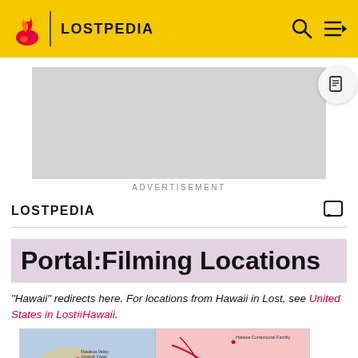LOSTPEDIA
[Figure (screenshot): Gray advertisement placeholder rectangle]
ADVERTISEMENT
LOSTPEDIA
Portal:Filming Locations
"Hawaii" redirects here. For locations from Hawaii in Lost, see United States in Lost#Hawaii.
[Figure (map): Map showing Hawaii filming locations including Honolulu area and Halawa Correctional Facility]